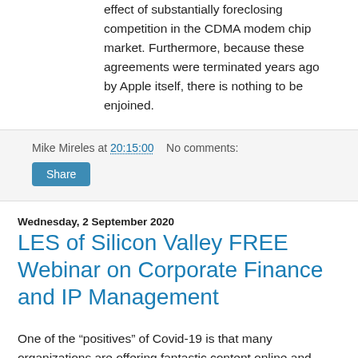effect of substantially foreclosing competition in the CDMA modem chip market. Furthermore, because these agreements were terminated years ago by Apple itself, there is nothing to be enjoined.
Mike Mireles at 20:15:00   No comments:
Share
Wednesday, 2 September 2020
LES of Silicon Valley FREE Webinar on Corporate Finance and IP Management
One of the “positives” of Covid-19 is that many organizations are offering fantastic content online and even for free. Here’s another great opportunity with an excellent organization and chapter of the Licensing Executives Society